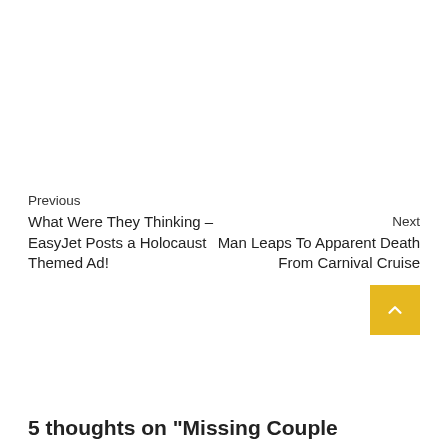Previous
What Were They Thinking – EasyJet Posts a Holocaust Themed Ad!
Next
Man Leaps To Apparent Death From Carnival Cruise
5 thoughts on "Missing Couple